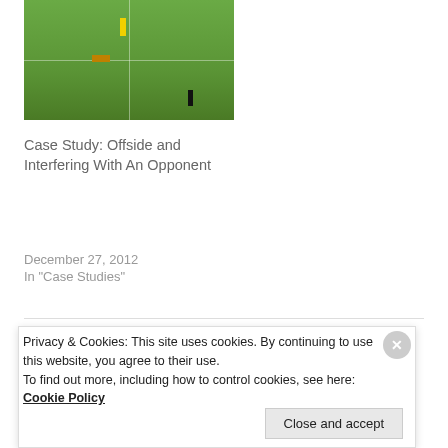[Figure (photo): A soccer field aerial/broadcast view showing players on a green pitch with white lines]
Case Study: Offside and Interfering With An Opponent
December 27, 2012
In "Case Studies"
DECEMBER 30, 2012
ITOOTRMIKE
Privacy & Cookies: This site uses cookies. By continuing to use this website, you agree to their use.
To find out more, including how to control cookies, see here: Cookie Policy